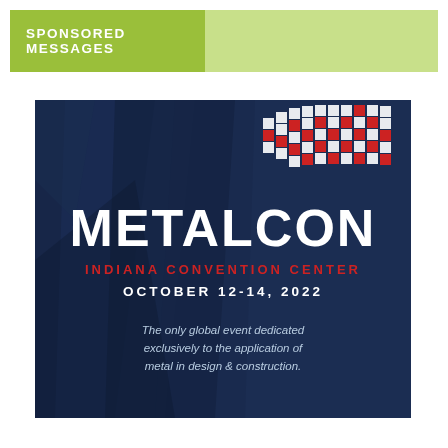SPONSORED MESSAGES
[Figure (logo): METALCON advertisement banner on dark navy background with checkered flag pattern in white and red. Text: METALCON, INDIANA CONVENTION CENTER, OCTOBER 12-14, 2022, The only global event dedicated exclusively to the application of metal in design & construction.]